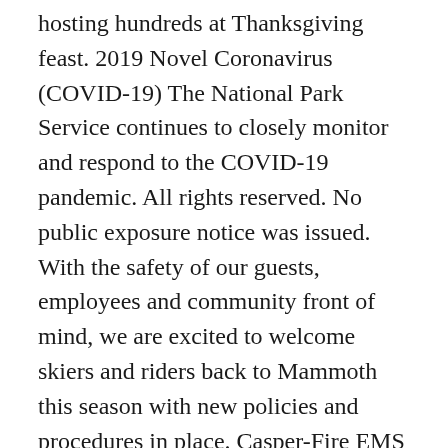hosting hundreds at Thanksgiving feast. 2019 Novel Coronavirus (COVID-19) The National Park Service continues to closely monitor and respond to the COVID-19 pandemic. All rights reserved. No public exposure notice was issued. With the safety of our guests, employees and community front of mind, we are excited to welcome skiers and riders back to Mammoth this season with new policies and procedures in place. Casper-Fire EMS firefighter Dane Andersen became the first person in Natrona County on Wednesday to receive a COVID-19 vaccine. Call (708) 633-3319 or email ccdph.COVID19@cookcountyhhs.org. Casper-Fire EMS firefighter Dane Andersen became the first person in Natrona County on